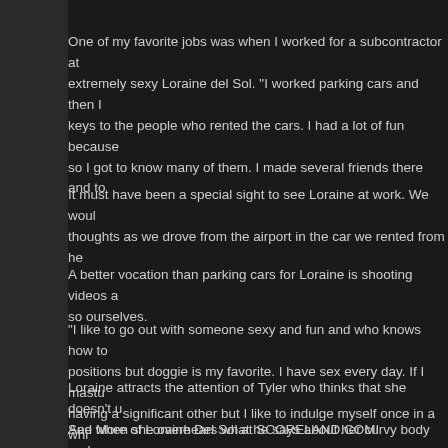One of my favorite jobs was when I worked for a subcontractor at extremely sexy Loraine del Sol. "I worked parking cars and then I keys to the people who rented the cars. I had a lot of fun because so I got to know many of them. I made several friends there and to
It must have been a special sight to see Loraine at work. We woul thoughts as we drove from the airport in the car we rented from he
A better vocation than parking cars for Loraine is shooting videos so ourselves.
"I like to go out with someone sexy and fun and who knows how to positions but doggie is my favorite. I have sex every day. If I mastu having a significant other but I like to indulge myself once in a whi
Loraine attracts the attention of Tyler who thinks that she doesn't u And when she overhears what he says about her curvy body and friend, his pants are not going to stay on much longer. He's going hard one because she's cornered him in a bedroom. He's glad to c
See More of Loraine Del Sol at SCORELAND.COM!